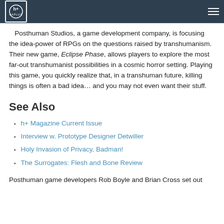Posthuman Studios logo and navigation
Posthuman Studios, a game development company, is focusing the idea-power of RPGs on the questions raised by transhumanism. Their new game, Eclipse Phase, allows players to explore the most far-out transhumanist possibilities in a cosmic horror setting. Playing this game, you quickly realize that, in a transhuman future, killing things is often a bad idea... and you may not even want their stuff.
See Also
h+ Magazine Current Issue
Interview w. Prototype Designer Detwiller
Holy Invasion of Privacy, Badman!
The Surrogates: Flesh and Bone Review
Posthuman game developers Rob Boyle and Brian Cross set out